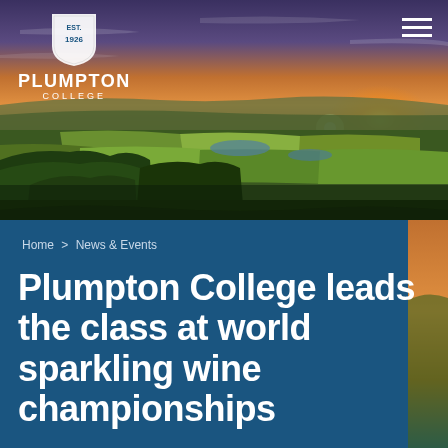[Figure (photo): Aerial landscape photo of rolling English countryside with fields, woods, and a lake at sunset with dramatic sky. Plumpton College header area with logo and hamburger menu overlaid.]
Home > News & Events
Plumpton College leads the class at world sparkling wine championships